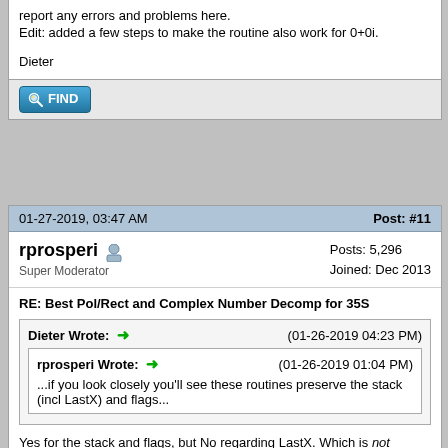report any errors and problems here.
Edit: added a few steps to make the routine also work for 0+0i.
Dieter
[Figure (other): Find button with magnifying glass icon]
01-27-2019, 03:47 AM    Post: #11
rprosperi  Super Moderator    Posts: 5,296  Joined: Dec 2013
RE: Best Pol/Rect and Complex Number Decomp for 35S
Dieter Wrote: → (01-26-2019 04:23 PM)
rprosperi Wrote: → (01-26-2019 01:04 PM)
...if you look closely you'll see these routines preserve the stack (incl LastX) and flags...
Yes for the stack and flags, but No regarding LastX. Which is not preserved – on exit it contains a complex number or a vector, respectively.
Well, that should teach me! I read a post claiming all was preserved and while I bothered to check the flags (by reading